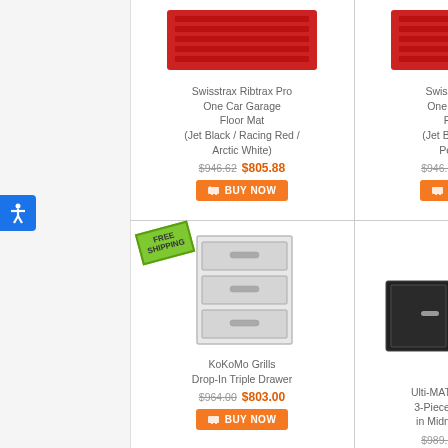[Figure (photo): Product grid showing garage/outdoor products. Top row: two Swisstrax Ribtrax Pro floor mats (partially visible at top). Bottom row: KoKoMo Grills Drop-In Triple Drawer with Free Shipping badge, and Ulti-MATE Garage Cabinet (partially visible).]
Swisstrax Ribtrax Pro One Car Garage Floor Mat (Jet Black / Racing Red / Arctic White)
$946.62  $805.88
BUY NOW
Swisstrax Ribtrax One Car Garage Floor Mat (Jet Black / Racing Pearl Grey)
$946.62  $805.8...
BUY NOW
KoKoMo Grills Drop-In Triple Drawer
$964.00  $803.00
BUY NOW
Ulti-MATE Garage Ca... 3-Piece Wall Cabine... in Midnight Black M...
$989.99  $799.9...
BUY NOW